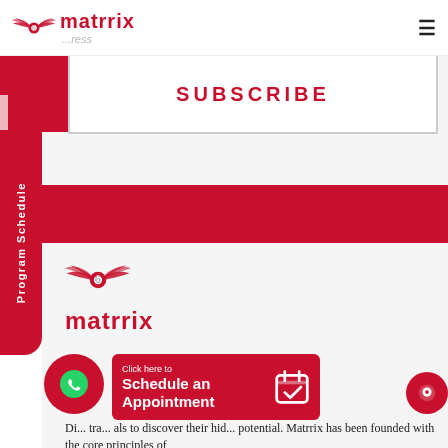matrrix
SUBSCRIBE
Program Schedule
[Figure (logo): Matrrix logo with winged emblem and red text 'matrrix']
Click here to Schedule an Appointment
Dri... tra... als to discover their hidden potential. Matrrix has been founded with the core principles of